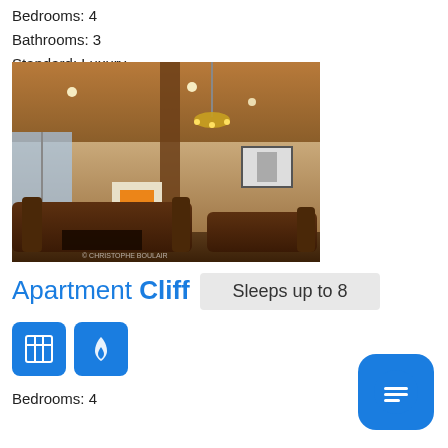Bedrooms: 4
Bathrooms: 3
Standard: Luxury
[Figure (photo): Interior photo of a luxury apartment living room with wooden ceiling, leather sofas, fireplace, and chandelier. Watermark reads CHRISTOPHE BOULAIR.]
Apartment Cliff
Sleeps up to 8
[Figure (illustration): Two blue square icons: one showing a grid/table pattern and one showing a fire/flame icon]
Bedrooms: 4